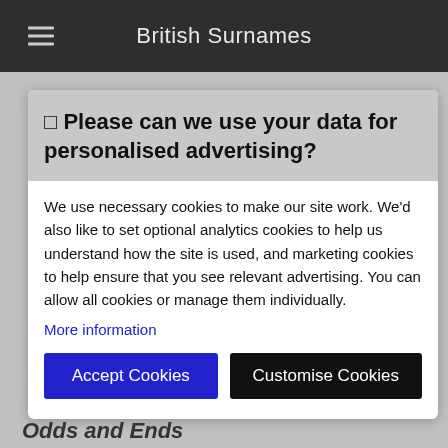British Surnames
🔲 Please can we use your data for personalised advertising?
We use necessary cookies to make our site work. We'd also like to set optional analytics cookies to help us understand how the site is used, and marketing cookies to help ensure that you see relevant advertising. You can allow all cookies or manage them individually.
More information
Accept Cookies
Customise Cookies
Odds and Ends